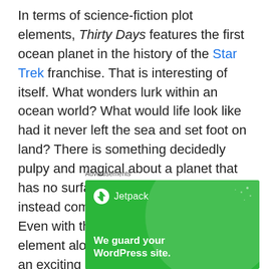In terms of science-fiction plot elements, Thirty Days features the first ocean planet in the history of the Star Trek franchise. That is interesting of itself. What wonders lurk within an ocean world? What would life look like had it never left the sea and set foot on land? There is something decidedly pulpy and magical about a planet that has no surface of which to speak, instead comprised of waves and tides. Even with the flimsiest of plots, this element alone should provide fodder for an exciting installment.
Advertisements
[Figure (illustration): Jetpack advertisement banner with green background, circular design elements, Jetpack logo with lightning bolt icon, and text 'We guard your WordPress site.']